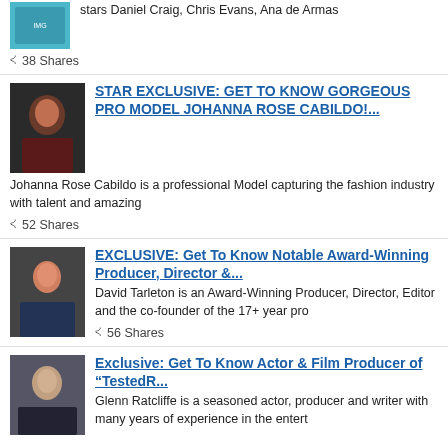stars Daniel Craig, Chris Evans, Ana de Armas
38 Shares
STAR EXCLUSIVE: GET TO KNOW GORGEOUS PRO MODEL JOHANNA ROSE CABILDO!...
Johanna Rose Cabildo is a professional Model capturing the fashion industry with talent and amazing
52 Shares
EXCLUSIVE: Get To Know Notable Award-Winning Producer, Director &...
David Tarleton is an Award-Winning Producer, Director, Editor and the co-founder of the 17+ year pro
56 Shares
Exclusive: Get To Know Actor & Film Producer of “TestedR...
Glenn Ratcliffe is a seasoned actor, producer and writer with many years of experience in the entert